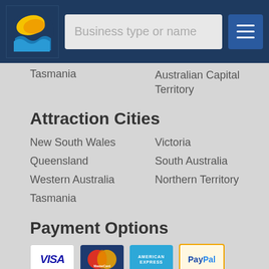Business type or name
Tasmania
Australian Capital Territory
Attraction Cities
New South Wales
Victoria
Queensland
South Australia
Western Australia
Northern Territory
Tasmania
Payment Options
[Figure (logo): Payment icons: Visa, MasterCard, American Express, PayPal]
Add Listing
ADD MY BUSINESS